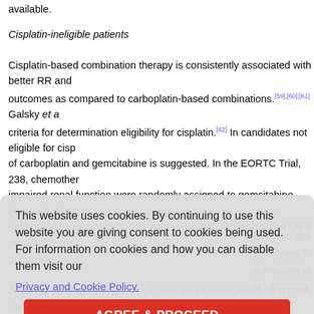available.
Cisplatin-ineligible patients
Cisplatin-based combination therapy is consistently associated with better RR and outcomes as compared to carboplatin-based combinations.[59],[60],[61] Galsky et a criteria for determination eligibility for cisplatin.[62] In candidates not eligible for cisp of carboplatin and gemcitabine is suggested. In the EORTC Trial, 238, chemother impaired renal function were randomly assigned to gemcitabine plus carboplatin or methotrexate, carboplatin, and vinblastine with similar median OS 9 versus 8.1 mo 3/4 toxicity.[63]
um have been 16 months. [6 pulmonary to xel, gemcita
This website uses cookies. By continuing to use this website you are giving consent to cookies being used. For information on cookies and how you can disable them visit our Privacy and Cookie Policy.
AGREE & PROCEED
A number of chemotherapy drugs have single agent activity and none have been U Drug Administration (US FDA) approved in the second line. Vinflunine is approved